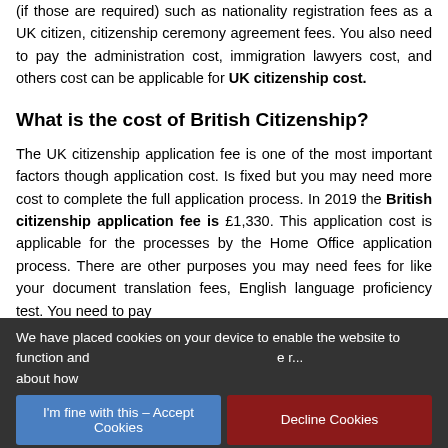(if those are required) such as nationality registration fees as a UK citizen, citizenship ceremony agreement fees. You also need to pay the administration cost, immigration lawyers cost, and others cost can be applicable for UK citizenship cost.
What is the cost of British Citizenship?
The UK citizenship application fee is one of the most important factors though application cost. Is fixed but you may need more cost to complete the full application process. In 2019 the British citizenship application fee is £1,330. This application cost is applicable for the processes by the Home Office application process. There are other purposes you may need fees for like your document translation fees, English language proficiency test. You need to pay
We have placed cookies on your device to enable the website to function and ... e r... about how